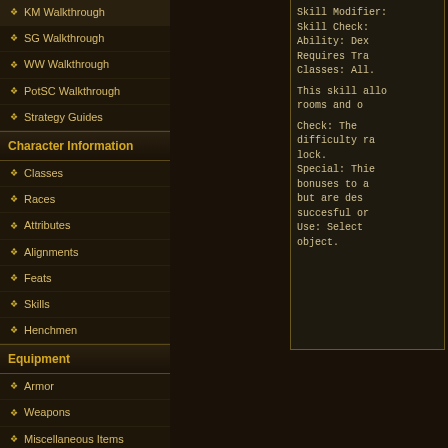KM Walkthrough
SG Walkthrough
WW Walkthrough
PotSC Walkthrough
Strategy Guides
Character Information
Classes
Races
Attributes
Alignments
Feats
Skills
Henchmen
Equipment
Armor
Weapons
Miscellaneous Items
Spells
Skill Modifier:
Skill Check:
Ability: Dex
Requires Tra
Classes: All.

This skill allo
rooms and o

Check: The
difficulty ra
lock.
Special: Thie
bonuses to a
but are des
succesful or
Use: Select
object.